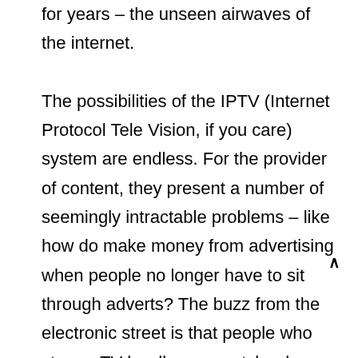for years – the unseen airwaves of the internet.

The possibilities of the IPTV (Internet Protocol Tele Vision, if you care) system are endless. For the provider of content, they present a number of seemingly intractable problems – like how do make money from advertising when people no longer have to sit through adverts? The buzz from the electronic street is that people who stream TV hardly ever watch ads, when they have the option of not doing so – and that means death for a massive amount of revenue for T companies.